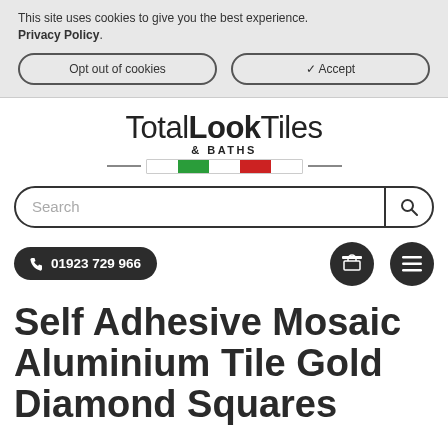This site uses cookies to give you the best experience. Privacy Policy.
Opt out of cookies
✓ Accept
[Figure (logo): TotalLook Tiles & BATHS logo with Italian flag color bar]
Search
📞 01923 729 966
Self Adhesive Mosaic Aluminium Tile Gold Diamond Squares